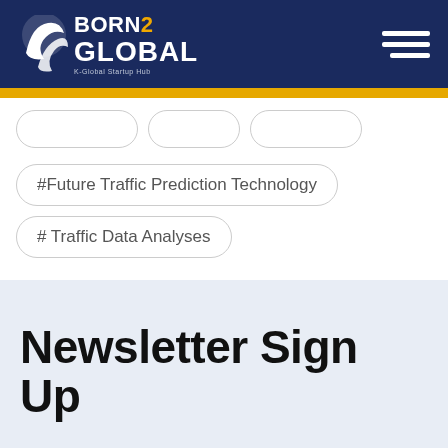[Figure (logo): Born2Global K-Global Startup Hub logo with wave graphic on dark navy background, with hamburger menu icon on right]
#Future Traffic Prediction Technology
# Traffic Data Analyses
Newsletter Sign Up